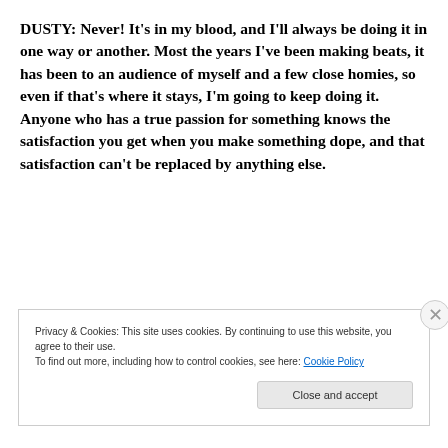DUSTY: Never! It's in my blood, and I'll always be doing it in one way or another. Most the years I've been making beats, it has been to an audience of myself and a few close homies, so even if that's where it stays, I'm going to keep doing it. Anyone who has a true passion for something knows the satisfaction you get when you make something dope, and that satisfaction can't be replaced by anything else.
Privacy & Cookies: This site uses cookies. By continuing to use this website, you agree to their use.
To find out more, including how to control cookies, see here: Cookie Policy
Close and accept